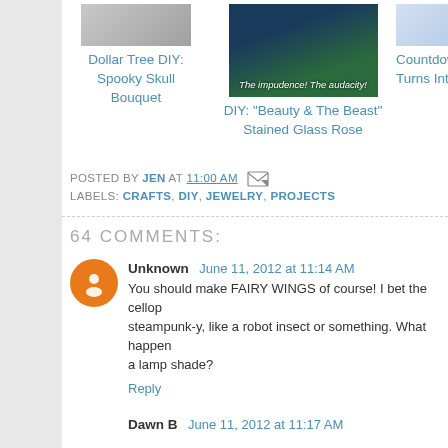[Figure (photo): Thumbnail image for Dollar Tree DIY Spooky Skull Bouquet]
Dollar Tree DIY: Spooky Skull Bouquet
[Figure (photo): Center thumbnail showing a green smoky/misty image with text 'The impudence! The audacity!']
DIY: "Beauty & The Beast" Stained Glass Rose
[Figure (photo): Right partial thumbnail, partially cropped, showing a colorful image]
Countdown Turns Into R
POSTED BY JEN AT 11:00 AM LABELS: CRAFTS, DIY, JEWELRY, PROJECTS
64 COMMENTS:
Unknown June 11, 2012 at 11:14 AM
You should make FAIRY WINGS of course! I bet the cellop... steampunk-y, like a robot insect or something. What happen... a lamp shade?
Reply
Dawn B  June 11, 2012 at 11:17 AM